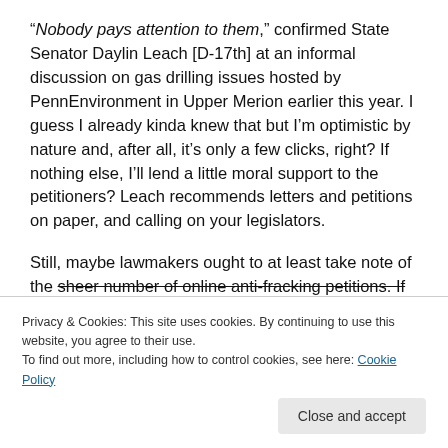“Nobody pays attention to them,” confirmed State Senator Daylin Leach [D-17th] at an informal discussion on gas drilling issues hosted by PennEnvironment in Upper Merion earlier this year. I guess I already kinda knew that but I’m optimistic by nature and, after all, it’s only a few clicks, right? If nothing else, I’ll lend a little moral support to the petitioners? Leach recommends letters and petitions on paper, and calling on your legislators.
Still, maybe lawmakers ought to at least take note of the sheer number of online anti-fracking petitions. If nothing
Privacy & Cookies: This site uses cookies. By continuing to use this website, you agree to their use.
To find out more, including how to control cookies, see here: Cookie Policy